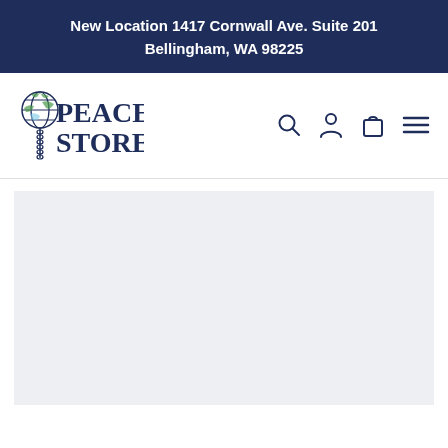New Location 1417 Cornwall Ave. Suite 201
Bellingham, WA 98225
[Figure (logo): Peace Store logo with globe and chain imagery, text reads PEACE STORE in dark navy serif font]
[Figure (infographic): Navigation bar icons: search magnifying glass, user account person icon, shopping bag/cart icon, hamburger menu icon]
[Figure (photo): Light gray placeholder content area below the navigation bar]